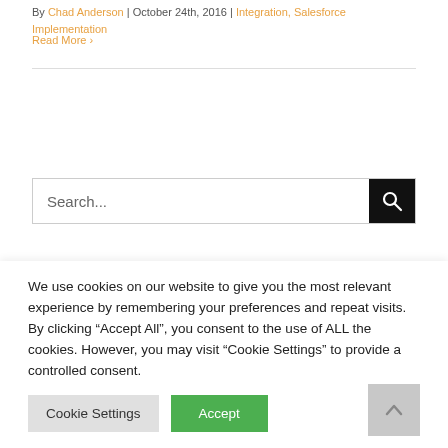By Chad Anderson | October 24th, 2016 | Integration, Salesforce Implementation
Read More >
[Figure (other): Search bar with text 'Search...' and a black search button with magnifying glass icon]
Recent Posts
We use cookies on our website to give you the most relevant experience by remembering your preferences and repeat visits. By clicking "Accept All", you consent to the use of ALL the cookies. However, you may visit "Cookie Settings" to provide a controlled consent.
Cookie Settings | Accept